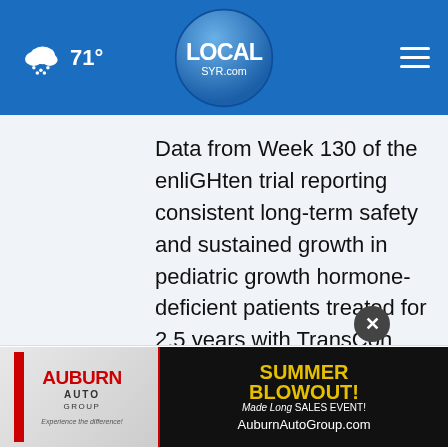71° LOCALsyr.com
Data from Week 130 of the enliGHten trial reporting consistent long-term safety and sustained growth in pediatric growth hormone-deficient patients treated for 2.5 years with TransCon hGH. Also includes outcomes from auto-injector device usability
[Figure (screenshot): Advertisement banner for Auburn Auto Group featuring 'Summer Blowout Sales Event' promotion at AuburnAutoGroup.com]